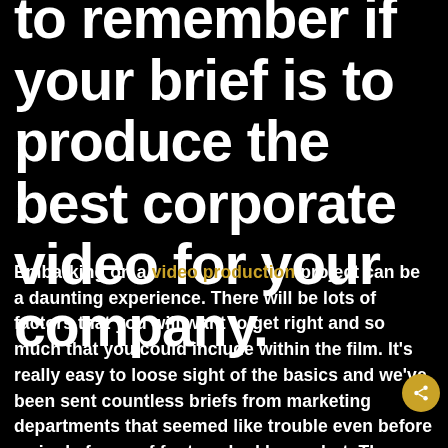to remember if your brief is to produce the best corporate video for your company.
Embarking on a video production project can be a daunting experience. There will be lots of factors that you will want to get right and so much that you could include within the film. It's really easy to loose sight of the basics and we've been sent countless briefs from marketing departments that seemed like trouble even before a single frame of footage had been shot. The worst examples of which occur when we receive a brief that